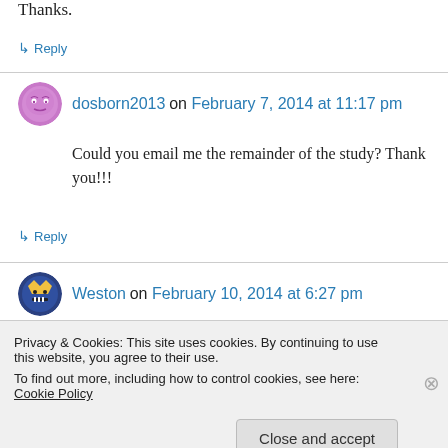Thanks.
↳ Reply
dosborn2013 on February 7, 2014 at 11:17 pm
Could you email me the remainder of the study? Thank you!!!
↳ Reply
Weston on February 10, 2014 at 6:27 pm
Privacy & Cookies: This site uses cookies. By continuing to use this website, you agree to their use. To find out more, including how to control cookies, see here: Cookie Policy
Close and accept